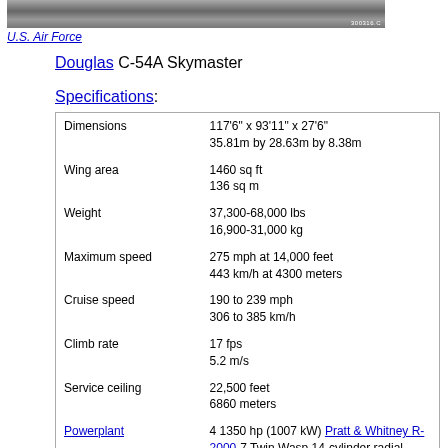[Figure (photo): Aerial or in-flight photograph of a Douglas C-54A Skymaster aircraft, black and white, with a small label in the bottom right corner.]
U.S. Air Force
Douglas C-54A Skymaster
Specifications:
| Specification | Value |
| --- | --- |
| Dimensions | 117'6" x 93'11" x 27'6"
35.81m by 28.63m by 8.38m |
| Wing area | 1460 sq ft
136 sq m |
| Weight | 37,300-68,000 lbs
16,900-31,000 kg |
| Maximum speed | 275 mph at 14,000 feet
443 km/h at 4300 meters |
| Cruise speed | 190 to 239 mph
306 to 385 km/h |
| Climb rate | 17 fps
5.2 m/s |
| Service ceiling | 22,500 feet
6860 meters |
| Powerplant | 4 1350 hp (1007 kW) Pratt & Whitney R-2000-7 Twin Wasp 14-cylinder radial engines driving three bladed propellers |